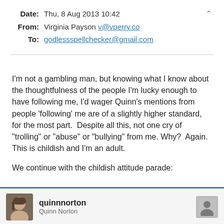Date:  Thu, 8 Aug 2013 10:42
From:  Virginia Payson v@vperry.co
To:  godlessspellchecker@gmail.com
I'm not a gambling man, but knowing what I know about the thoughtfulness of the people I'm lucky enough to have following me, I'd wager Quinn's mentions from people 'following' me are of a slightly higher standard, for the most part.  Despite all this, not one cry of "trolling" or "abuse" or "bullying" from me. Why?  Again.  This is childish and I'm an adult.

We continue with the childish attitude parade:
[Figure (screenshot): Twitter profile snippet showing quinnnorton / Quinn Norton with avatar photo and person icon placeholder]